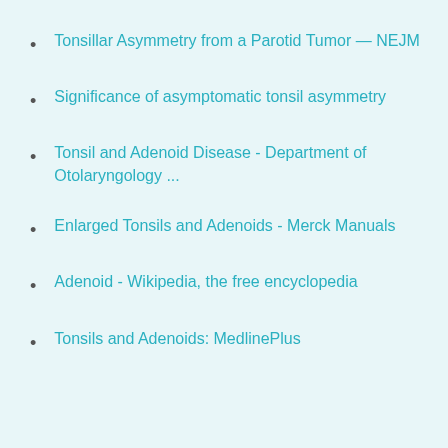Tonsillar Asymmetry from a Parotid Tumor — NEJM
Significance of asymptomatic tonsil asymmetry
Tonsil and Adenoid Disease - Department of Otolaryngology ...
Enlarged Tonsils and Adenoids - Merck Manuals
Adenoid - Wikipedia, the free encyclopedia
Tonsils and Adenoids: MedlinePlus